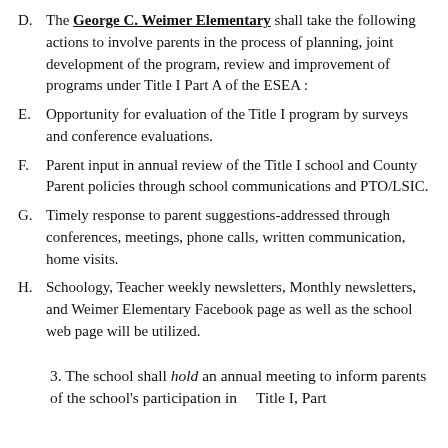D. The George C. Weimer Elementary shall take the following actions to involve parents in the process of planning, joint development of the program, review and improvement of programs under Title I Part A of the ESEA :
E. Opportunity for evaluation of the Title I program by surveys and conference evaluations.
F. Parent input in annual review of the Title I school and County Parent policies through school communications and PTO/LSIC.
G. Timely response to parent suggestions-addressed through conferences, meetings, phone calls, written communication, home visits.
H. Schoology, Teacher weekly newsletters, Monthly newsletters, and Weimer Elementary Facebook page as well as the school web page will be utilized.
3. The school shall hold an annual meeting to inform parents of the school's participation in      Title I, Part